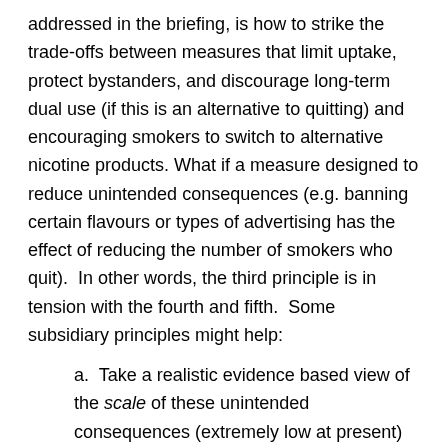addressed in the briefing, is how to strike the trade-offs between measures that limit uptake, protect bystanders, and discourage long-term dual use (if this is an alternative to quitting) and encouraging smokers to switch to alternative nicotine products. What if a measure designed to reduce unintended consequences (e.g. banning certain flavours or types of advertising has the effect of reducing the number of smokers who quit). In other words, the third principle is in tension with the fourth and fifth. Some subsidiary principles might help:
a. Take a realistic evidence based view of the scale of these unintended consequences (extremely low at present) and the harm they would cause to individuals (extremely low unless they progress to smoking). Further, recognise